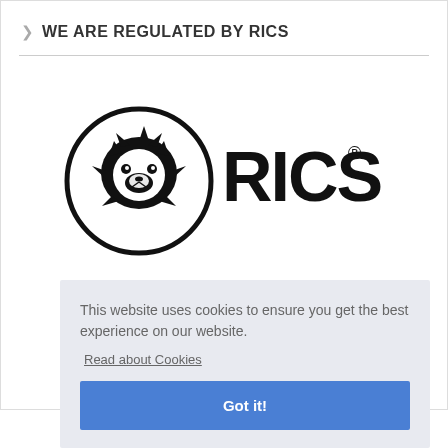WE ARE REGULATED BY RICS
[Figure (logo): RICS logo — lion head in circular emblem with 'RICS' text and registered trademark symbol]
This website uses cookies to ensure you get the best experience on our website.
Read about Cookies
Got it!
COPYRIGHT © 2022 · TIM GREENWOOD & ASSOCIATES - REGULATED BY